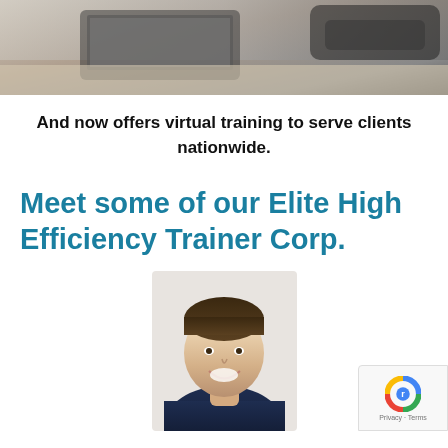[Figure (photo): Photo of laptop on a desk, partial view at the top of the page]
And now offers virtual training to serve clients nationwide.
Meet some of our Elite High Efficiency Trainer Corp.
[Figure (photo): Headshot photo of a young smiling male trainer wearing a dark navy shirt]